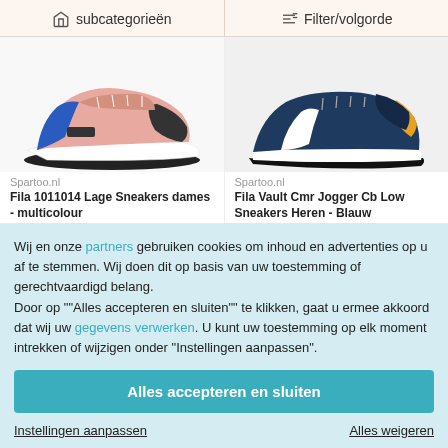subcategorieën | Filter/volgorde
[Figure (photo): Fila 1011014 sneaker dames multicolour - pink/white/blue shoe viewed from side]
[Figure (photo): Fila Vault Cmr Jogger Cb Low sneaker heren blauw - navy/white/yellow shoe viewed from side]
Spartoo.nl
Fila 1011014 Lage Sneakers dames - multicolour
€65,90*
Spartoo.nl
Fila Vault Cmr Jogger Cb Low Sneakers Heren - Blauw
€73,00*
Wij en onze partners gebruiken cookies om inhoud en advertenties op u af te stemmen. Wij doen dit op basis van uw toestemming of gerechtvaardigd belang.
Door op ""Alles accepteren en sluiten"" te klikken, gaat u ermee akkoord dat wij uw gegevens verwerken. U kunt uw toestemming op elk moment intrekken of wijzigen onder "Instellingen aanpassen".
Alles accepteren en sluiten
Instellingen aanpassen
Alles weigeren